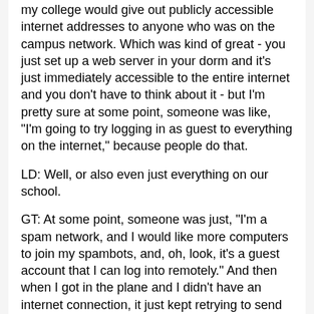my college would give out publicly accessible internet addresses to anyone who was on the campus network. Which was kind of great - you just set up a web server in your dorm and it's just immediately accessible to the entire internet and you don't have to think about it - but I'm pretty sure at some point, someone was like, "I'm going to try logging in as guest to everything on the internet," because people do that.
LD: Well, or also even just everything on our school.
GT: At some point, someone was just, "I'm a spam network, and I would like more computers to join my spambots, and, oh, look, it's a guest account that I can log into remotely." And then when I got in the plane and I didn't have an internet connection, it just kept retrying to send spam and that's the only time I noticed, and I'm pretty sure it had been like that for, like, weeks at that point. And I only noticed because I had been offline for the first time.